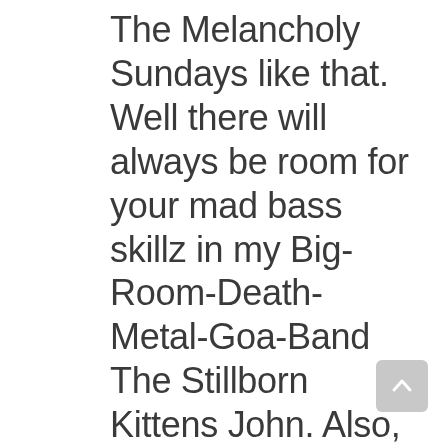The Melancholy Sundays like that. Well there will always be room for your mad bass skillz in my Big-Room-Death-Metal-Goa-Band The Stillborn Kittens John. Also, I like your John Madden-esque commentary on your making a friend. “Boom, new friend!” Now if only you could draw nonsensical lines all